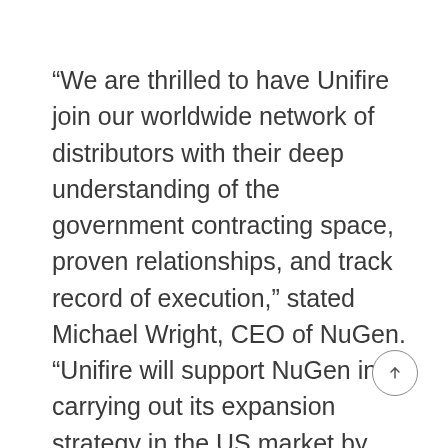“We are thrilled to have Unifire join our worldwide network of distributors with their deep understanding of the government contracting space, proven relationships, and track record of execution,” stated Michael Wright, CEO of NuGen. “Unifire will support NuGen in carrying out its expansion strategy in the US market by focusing on gaining acceptance for InsuJet™ as a safe, reliable and cost-effective replacement solution for current medication injection standard within Unifire’s well-established clientele of government agencies.”